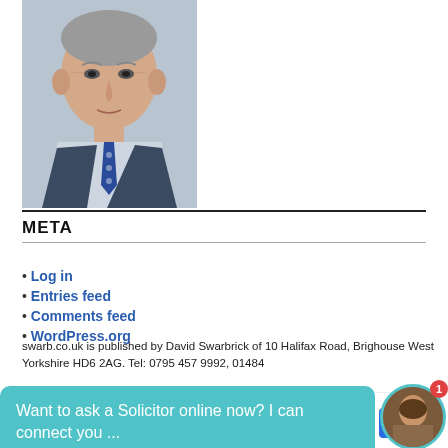[Figure (photo): Portrait photo of an elderly man in a suit and blue tie, cropped to shoulders.]
META
Log in
Entries feed
Comments feed
WordPress.org
Want to ask a Solicitor online now? I can connect you ...
swarb.co.uk is published by David Swarbrick of 10 Halifax Road, Brighouse West Yorkshire HD6 2AG. Tel: 0795 457 9992, 01484
[Figure (other): Advertisement: Save Up To $110 On New Tires - Virginia Tire & Auto of Ashburn Fa.]